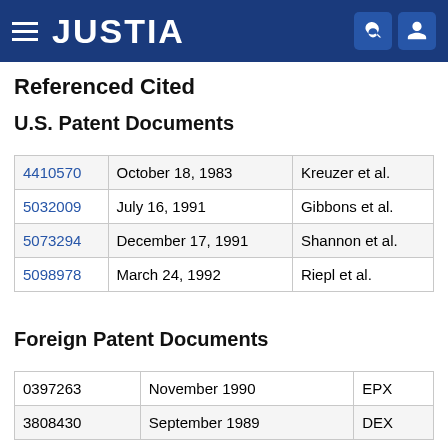JUSTIA
Referenced Cited
U.S. Patent Documents
| Patent No. | Date | Inventor |
| --- | --- | --- |
| 4410570 | October 18, 1983 | Kreuzer et al. |
| 5032009 | July 16, 1991 | Gibbons et al. |
| 5073294 | December 17, 1991 | Shannon et al. |
| 5098978 | March 24, 1992 | Riepl et al. |
Foreign Patent Documents
| Patent No. | Date | Country |
| --- | --- | --- |
| 0397263 | November 1990 | EPX |
| 3808430 | September 1989 | DEX |